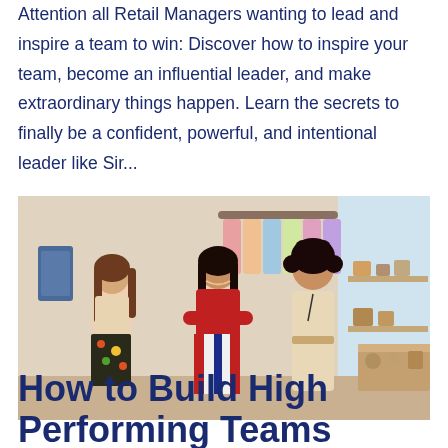Attention all Retail Managers wanting to lead and inspire a team to win: Discover how to inspire your team, become an influential leader, and make extraordinary things happen. Learn the secrets to finally be a confident, powerful, and intentional leader like Sir...
[Figure (photo): Three women smiling together inside a retail clothing boutique store with clothes on hanging racks and shelves with items in the background.]
How to Build High Performing Teams